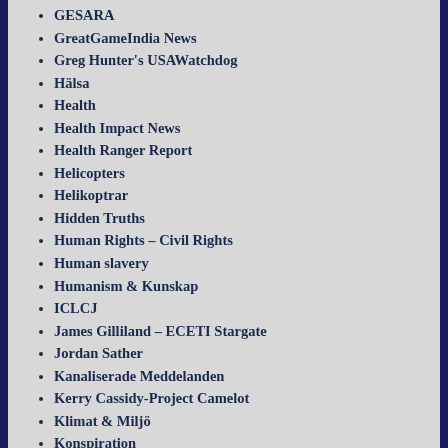GESARA
GreatGameIndia News
Greg Hunter's USAWatchdog
Hälsa
Health
Health Impact News
Health Ranger Report
Helicopters
Helikoptrar
Hidden Truths
Human Rights – Civil Rights
Human slavery
Humanism & Kunskap
ICLCJ
James Gilliland – ECETI Stargate
Jordan Sather
Kanaliserade Meddelanden
Kerry Cassidy-Project Camelot
Klimat & Miljö
Konspiration
Korruption & Organiserad Brottslighet
Krigsbrott- Folkmord
Life – LifeStyle
Livet – Livsstil
Mat & Hälsa
Mänsklinn Rätticht...